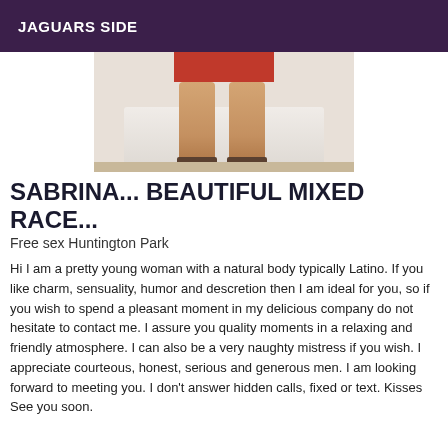JAGUARS SIDE
[Figure (photo): Partial photo of a woman's legs seated on a white couch, wearing heels, with a red garment visible at top.]
SABRINA... BEAUTIFUL MIXED RACE...
Free sex Huntington Park
Hi I am a pretty young woman with a natural body typically Latino. If you like charm, sensuality, humor and descretion then I am ideal for you, so if you wish to spend a pleasant moment in my delicious company do not hesitate to contact me. I assure you quality moments in a relaxing and friendly atmosphere. I can also be a very naughty mistress if you wish. I appreciate courteous, honest, serious and generous men. I am looking forward to meeting you. I don't answer hidden calls, fixed or text. Kisses See you soon.